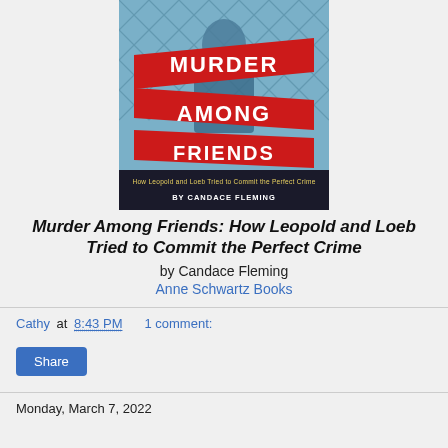[Figure (illustration): Book cover for 'Murder Among Friends: How Leopold and Loeb Tried to Commit the Perfect Crime' by Candace Fleming. Blue-tinted background with a chain-link fence and a figure. Bold red diagonal banner-style shapes contain white text 'MURDER AMONG FRIENDS'. Below: 'How Leopold and Loeb Tried to Commit the Perfect Crime' and 'BY CANDACE FLEMING' in yellow/white text on dark background.]
Murder Among Friends: How Leopold and Loeb Tried to Commit the Perfect Crime
by Candace Fleming
Anne Schwartz Books
Cathy at 8:43 PM   1 comment:
Share
Monday, March 7, 2022